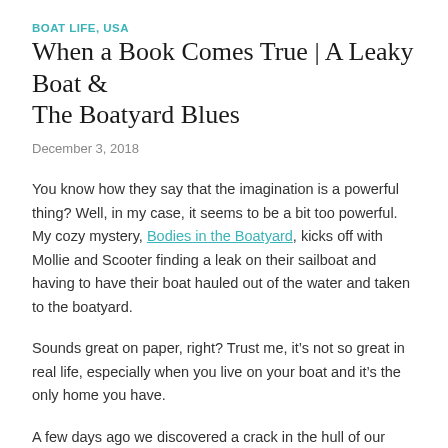BOAT LIFE, USA
When a Book Comes True | A Leaky Boat & The Boatyard Blues
December 3, 2018
You know how they say that the imagination is a powerful thing? Well, in my case, it seems to be a bit too powerful. My cozy mystery, Bodies in the Boatyard, kicks off with Mollie and Scooter finding a leak on their sailboat and having to have their boat hauled out of the water and taken to the boatyard.
Sounds great on paper, right? Trust me, it’s not so great in real life, especially when you live on your boat and it’s the only home you have.
A few days ago we discovered a crack in the hull of our sailboat…